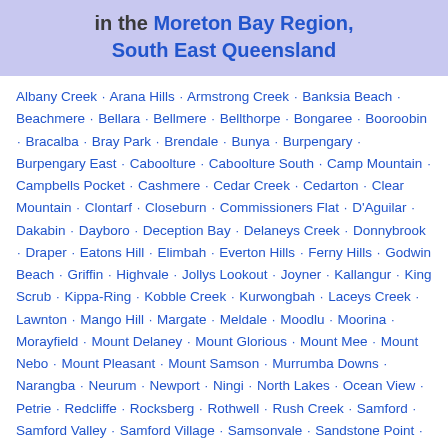in the Moreton Bay Region, South East Queensland
Albany Creek · Arana Hills · Armstrong Creek · Banksia Beach · Beachmere · Bellara · Bellmere · Bellthorpe · Bongaree · Booroobin · Bracalba · Bray Park · Brendale · Bunya · Burpengary · Burpengary East · Caboolture · Caboolture South · Camp Mountain · Campbells Pocket · Cashmere · Cedar Creek · Cedarton · Clear Mountain · Clontarf · Closeburn · Commissioners Flat · D'Aguilar · Dakabin · Dayboro · Deception Bay · Delaneys Creek · Donnybrook · Draper · Eatons Hill · Elimbah · Everton Hills · Ferny Hills · Godwin Beach · Griffin · Highvale · Jollys Lookout · Joyner · Kallangur · King Scrub · Kippa-Ring · Kobble Creek · Kurwongbah · Laceys Creek · Lawnton · Mango Hill · Margate · Meldale · Moodlu · Moorina · Morayfield · Mount Delaney · Mount Glorious · Mount Mee · Mount Nebo · Mount Pleasant · Mount Samson · Murrumba Downs · Narangba · Neurum · Newport · Ningi · North Lakes · Ocean View · Petrie · Redcliffe · Rocksberg · Rothwell · Rush Creek · Samford · Samford Valley · Samford Village · Samsonvale · Sandstone Point · Scarborough · Stanmore · Stony Creek ·